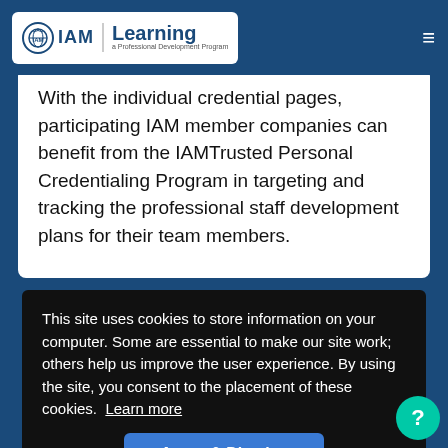IAM Learning - A Professional Development Program
With the individual credential pages, participating IAM member companies can benefit from the IAMTrusted Personal Credentialing Program in targeting and tracking the professional staff development plans for their team members.
This site uses cookies to store information on your computer. Some are essential to make our site work; others help us improve the user experience. By using the site, you consent to the placement of these cookies. Learn more
Agree & Dismiss
Live Webcasts   Courses/Programs   Search   Support   Sign In   IAM Privacy Policy · IAM Cookies